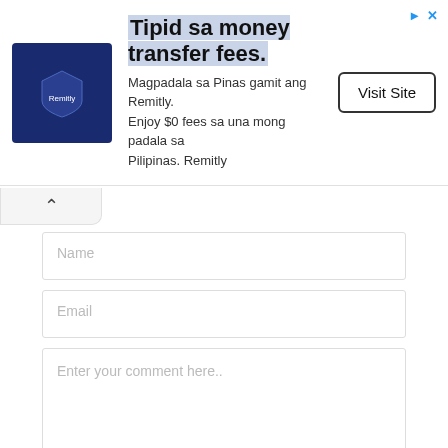[Figure (other): Advertisement banner for Remitly with logo, headline 'Tipid sa money transfer fees.', body text 'Magpadala sa Pinas gamit ang Remitly. Enjoy $0 fees sa una mong padala sa Pilipinas. Remitly', and a 'Visit Site' button]
Name
Email
Enter your comment here..
Save my name, email, and website in this browser for the